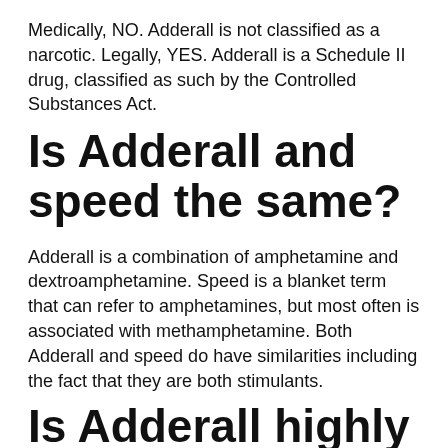Medically, NO. Adderall is not classified as a narcotic. Legally, YES. Adderall is a Schedule II drug, classified as such by the Controlled Substances Act.
Is Adderall and speed the same?
Adderall is a combination of amphetamine and dextroamphetamine. Speed is a blanket term that can refer to amphetamines, but most often is associated with methamphetamine. Both Adderall and speed do have similarities including the fact that they are both stimulants.
Is Adderall highly addictive?